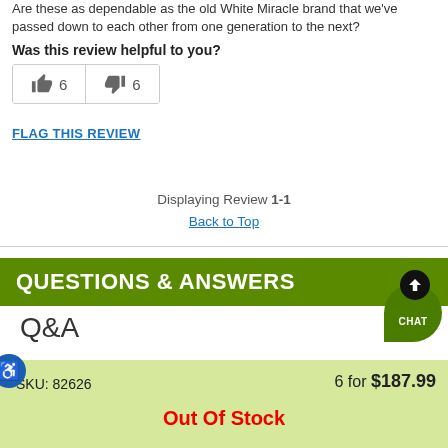Are these as dependable as the old White Miracle brand that we've passed down to each other from one generation to the next?
Was this review helpful to you?
[Figure (other): Thumbs up icon with count 6 and thumbs down icon with count 6 in bordered box]
FLAG THIS REVIEW
Displaying Review 1-1
Back to Top
QUESTIONS & ANSWERS
Q&A
SKU: 82626
6 for $187.99
Out Of Stock